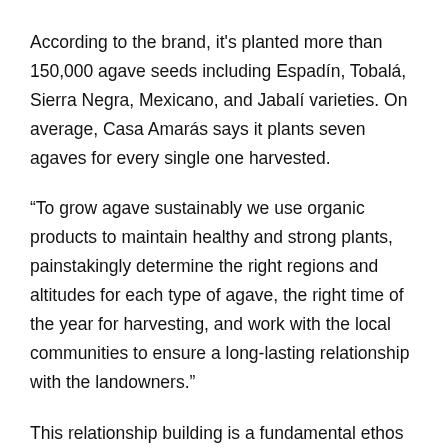According to the brand, it's planted more than 150,000 agave seeds including Espadín, Tobalá, Sierra Negra, Mexicano, and Jabalí varieties. On average, Casa Amarás says it plants seven agaves for every single one harvested.
“To grow agave sustainably we use organic products to maintain healthy and strong plants, painstakingly determine the right regions and altitudes for each type of agave, the right time of the year for harvesting, and work with the local communities to ensure a long-lasting relationship with the landowners.”
This relationship building is a fundamental ethos for the brand. “When we started the brand the price of agave